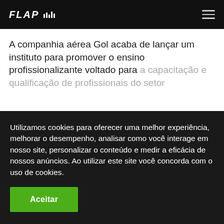FLAP [hamburger menu icon]
A companhia aérea Gol acaba de lançar um instituto para promover o ensino profissionalizante voltado para a capacitação e qualificação de profissionais do setor
Utilizamos cookies para oferecer uma melhor experiência, melhorar o desempenho, analisar como você interage em nosso site, personalizar o conteúdo e medir a eficácia de nossos anúncios. Ao utilizar este site você concorda com o uso de cookies.
Aceitar